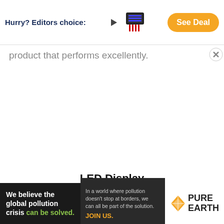[Figure (infographic): Top advertisement banner: 'Hurry? Editors choice:' with arrow, product image (parking sensor module), and orange 'See Deal' button. Close (X) button at top right.]
product that performs excellently.
LED Display
Lesho features 4 ultrasonic sensors that measure the
[Figure (infographic): Bottom advertisement banner for Pure Earth: 'We believe the global pollution crisis can be solved.' with green text on dark background, text 'In a world where pollution doesn't stop at borders, we can all be part of the solution. JOIN US.' and Pure Earth logo on white background.]